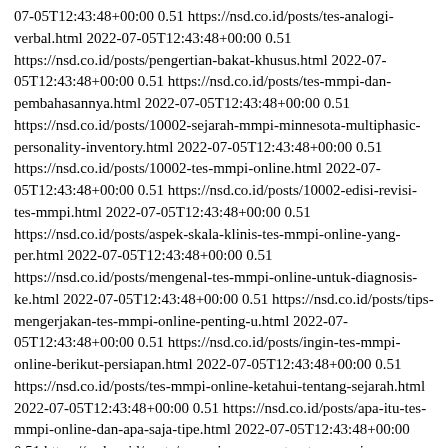07-05T12:43:48+00:00 0.51 https://nsd.co.id/posts/tes-analogi-verbal.html 2022-07-05T12:43:48+00:00 0.51 https://nsd.co.id/posts/pengertian-bakat-khusus.html 2022-07-05T12:43:48+00:00 0.51 https://nsd.co.id/posts/tes-mmpi-dan-pembahasannya.html 2022-07-05T12:43:48+00:00 0.51 https://nsd.co.id/posts/10002-sejarah-mmpi-minnesota-multiphasic-personality-inventory.html 2022-07-05T12:43:48+00:00 0.51 https://nsd.co.id/posts/10002-tes-mmpi-online.html 2022-07-05T12:43:48+00:00 0.51 https://nsd.co.id/posts/10002-edisi-revisi-tes-mmpi.html 2022-07-05T12:43:48+00:00 0.51 https://nsd.co.id/posts/aspek-skala-klinis-tes-mmpi-online-yang-per.html 2022-07-05T12:43:48+00:00 0.51 https://nsd.co.id/posts/mengenal-tes-mmpi-online-untuk-diagnosis-ke.html 2022-07-05T12:43:48+00:00 0.51 https://nsd.co.id/posts/tips-mengerjakan-tes-mmpi-online-penting-u.html 2022-07-05T12:43:48+00:00 0.51 https://nsd.co.id/posts/ingin-tes-mmpi-online-berikut-persiapan.html 2022-07-05T12:43:48+00:00 0.51 https://nsd.co.id/posts/tes-mmpi-online-ketahui-tentang-sejarah.html 2022-07-05T12:43:48+00:00 0.51 https://nsd.co.id/posts/apa-itu-tes-mmpi-online-dan-apa-saja-tipe.html 2022-07-05T12:43:48+00:00 0.51 https://nsd.co.id/posts/apa-saja-persyaratan-tes-mmpi-online.html 2022-07-05T12:43:48+00:00 0.51 https://nsd.co.id/posts/tes-mmpi-online-memiliki-banyak-fungsi.html 2022-07-